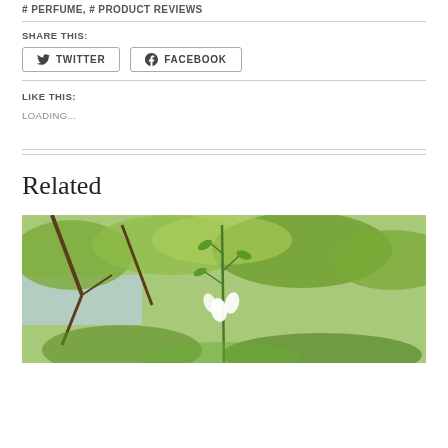#PERFUME, #PRODUCT REVIEWS
SHARE THIS:
TWITTER
FACEBOOK
LIKE THIS:
LOADING...
Related
[Figure (photo): Outdoor nature photo showing white flowers on a plant with green foliage and a pond/water in the background]